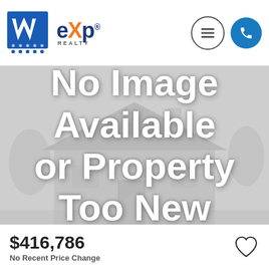[Figure (logo): W logo (blue stylized W with grid dots) and eXp Realty logo side by side in website header]
[Figure (screenshot): No Image Available or Property Too New placeholder banner with faint house background]
$416,786
No Recent Price Change